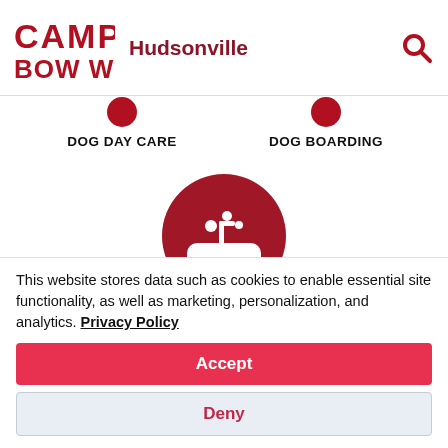[Figure (logo): Camp Bow Wow logo in dark red with CAMP in large letters above BOW WOW with a period, followed by Hudsonville city name in dark red, and a search magnifying glass icon on the right]
DOG DAY CARE
DOG BOARDING
[Figure (illustration): Dark red circle icon containing a white bathtub with soap bubbles, representing dog grooming/bathing service]
This website stores data such as cookies to enable essential site functionality, as well as marketing, personalization, and analytics. Privacy Policy
Accept
Deny